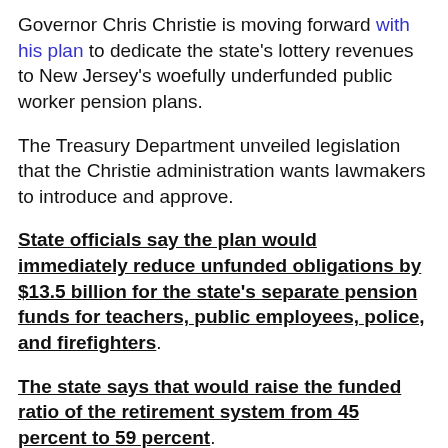Governor Chris Christie is moving forward with his plan to dedicate the state's lottery revenues to New Jersey's woefully underfunded public worker pension plans.
The Treasury Department unveiled legislation that the Christie administration wants lawmakers to introduce and approve.
State officials say the plan would immediately reduce unfunded obligations by $13.5 billion for the state's separate pension funds for teachers, public employees, police, and firefighters.
The state says that would raise the funded ratio of the retirement system from 45 percent to 59 percent.
Democratic Assembly Speaker Vincent Prieto says he continues to question whether it's an effective plan or a gimmick, but adds that he will review the proposal.
Officials say this would be a safer for...